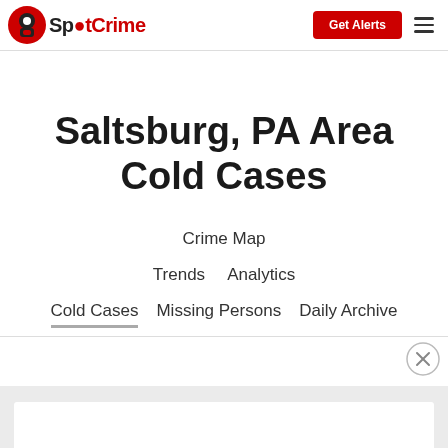SpotCrime | Get Alerts
Saltsburg, PA Area Cold Cases
Crime Map
Trends   Analytics
Cold Cases   Missing Persons   Daily Archive